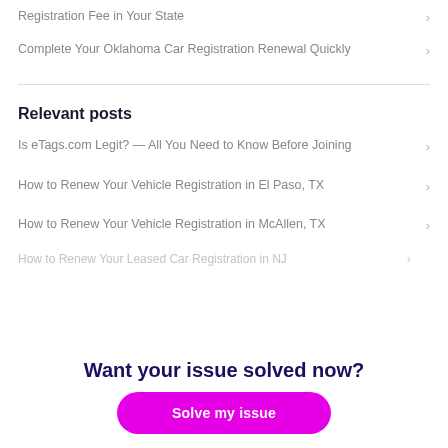Registration Fee in Your State
Complete Your Oklahoma Car Registration Renewal Quickly
Relevant posts
Is eTags.com Legit? — All You Need to Know Before Joining
How to Renew Your Vehicle Registration in El Paso, TX
How to Renew Your Vehicle Registration in McAllen, TX
How to Renew Your Leased Car Registration in NJ
Want your issue solved now?
Solve my issue